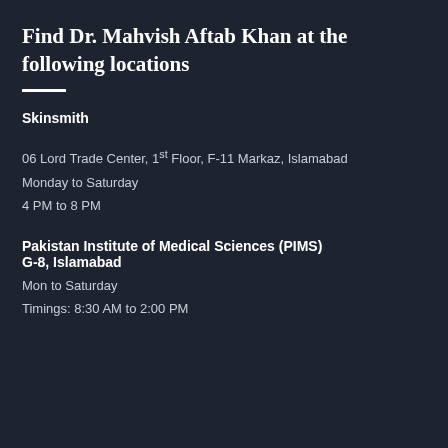Find Dr. Mahvish Aftab Khan at the following locations
Skinsmith
06 Lord Trade Center, 1st Floor, F-11 Markaz, Islamabad
Monday to Saturday
4 PM to 8 PM
Pakistan Institute of Medical Sciences (PIMS) G-8, Islamabad
Mon to Saturday
Timings: 8:30 AM to 2:00 PM